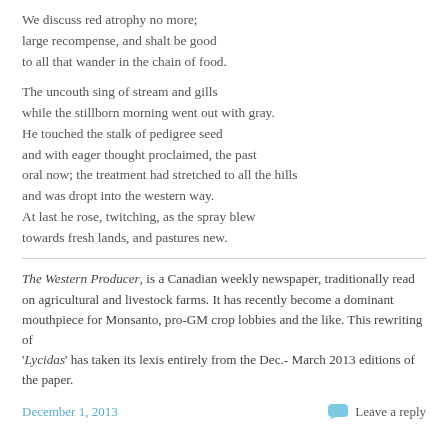We discuss red atrophy no more;
large recompense, and shalt be good
to all that wander in the chain of food.
The uncouth sing of stream and gills
while the stillborn morning went out with gray.
He touched the stalk of pedigree seed
and with eager thought proclaimed, the past
oral now; the treatment had stretched to all the hills
and was dropt into the western way.
At last he rose, twitching, as the spray blew
towards fresh lands, and pastures new.
The Western Producer, is a Canadian weekly newspaper, traditionally read on agricultural and livestock farms. It has recently become a dominant mouthpiece for Monsanto, pro-GM crop lobbies and the like. This rewriting of 'Lycidas' has taken its lexis entirely from the Dec.- March 2013 editions of the paper.
December 1, 2013      Leave a reply